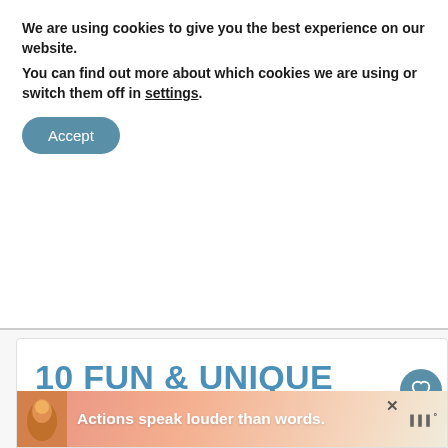We are using cookies to give you the best experience on our website.
You can find out more about which cookies we are using or switch them off in settings.
Accept
10 FUN & UNIQUE THINGS TO DO IN TIJUANA MEXICO
September 15, 2021   By:Maria Haase
WHAT'S NEXT → Unique Things to Do in San...
This article may contain affiliate links. We may earn a commission if you buy through our links.
Actions speak louder than words.